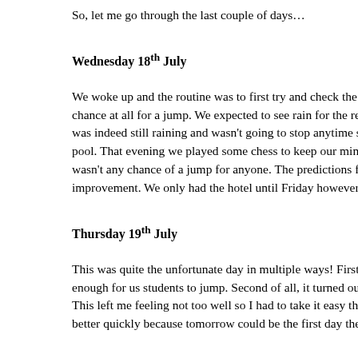So, let me go through the last couple of days…
Wednesday 18th July
We woke up and the routine was to first try and check the weather for any chance at all for a jump. We expected to see rain for the rest of the day, it was indeed still raining and wasn't going to stop anytime soon we went to the pool. That evening we played some chess to keep our minds awake, there wasn't any chance of a jump for anyone. The predictions for afternoon were improvement. We only had the hotel until Friday however…
Thursday 19th July
This was quite the unfortunate day in multiple ways! First of all, it cleared enough for us students to jump. Second of all, it turned out I ate something. This left me feeling not too well so I had to take it easy this day. I needed to better quickly because tomorrow could be the first day the weather…
Friday 20th July